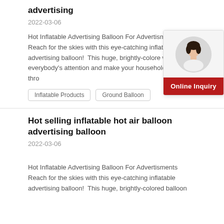advertising
2022-03-06
Hot Inflatable Advertising Balloon For Advertisments Reach for the skies with this eye-catching inflatable advertising balloon!  This huge, brightly-colored will grab everybody's attention and make your household name thro
Inflatable Products
Ground Balloon
[Figure (photo): Circular portrait photo of a young woman smiling, with a red Online Inquiry button below]
Hot selling inflatable hot air balloon advertising balloon
2022-03-06
Hot Inflatable Advertising Balloon For Advertisments Reach for the skies with this eye-catching inflatable advertising balloon!  This huge, brightly-colored balloon